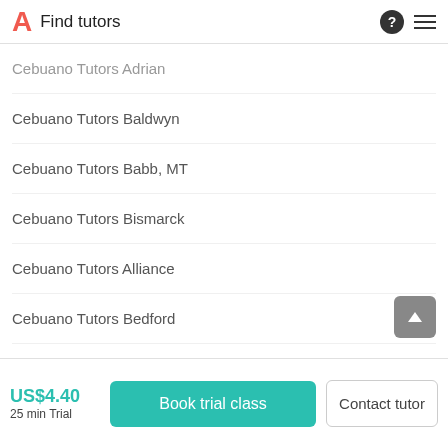Find tutors
Cebuano Tutors Adrian
Cebuano Tutors Baldwyn
Cebuano Tutors Babb, MT
Cebuano Tutors Bismarck
Cebuano Tutors Alliance
Cebuano Tutors Bedford
Cebuano Tutors Absecon
US$4.40
25 min Trial
Book trial class
Contact tutor